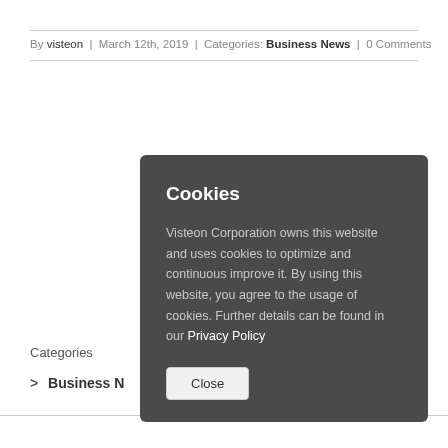By visteon | March 12th, 2019 | Categories: Business News | 0 Comments
Categories
> Business News
Cookies

Visteon Corporation owns this website and uses cookies to optimize and continuous improve it. By using this website, you agree to the usage of cookies. Further details can be found in our Privacy Policy

[Close]